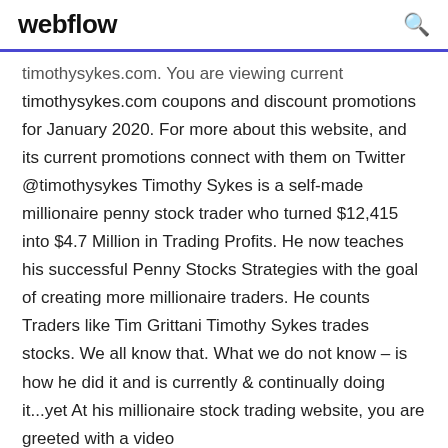webflow
timothysykes.com. You are viewing current timothysykes.com coupons and discount promotions for January 2020. For more about this website, and its current promotions connect with them on Twitter @timothysykes Timothy Sykes is a self-made millionaire penny stock trader who turned $12,415 into $4.7 Million in Trading Profits. He now teaches his successful Penny Stocks Strategies with the goal of creating more millionaire traders. He counts Traders like Tim Grittani Timothy Sykes trades stocks. We all know that. What we do not know – is how he did it and is currently & continually doing it...yet At his millionaire stock trading website, you are greeted with a video